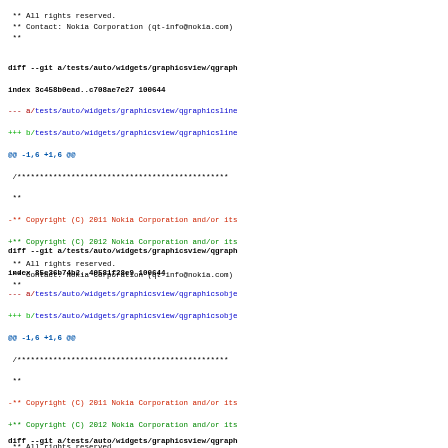** All rights reserved.
 ** Contact: Nokia Corporation (qt-info@nokia.com)
 **
diff --git a/tests/auto/widgets/graphicsview/qgraph...
index 3c458b0ead..c708ae7e27 100644
--- a/tests/auto/widgets/graphicsview/qgraphicsline...
+++ b/tests/auto/widgets/graphicsview/qgraphicsline...
@@ -1,6 +1,6 @@
 /***...
 **
-** Copyright (C) 2011 Nokia Corporation and/or its...
+** Copyright (C) 2012 Nokia Corporation and/or its...
 ** All rights reserved.
 ** Contact: Nokia Corporation (qt-info@nokia.com)
 **
diff --git a/tests/auto/widgets/graphicsview/qgraph...
index 85e36b74b2..40581f28e9 100644
--- a/tests/auto/widgets/graphicsview/qgraphicsobje...
+++ b/tests/auto/widgets/graphicsview/qgraphicsobje...
@@ -1,6 +1,6 @@
 /***...
 **
-** Copyright (C) 2011 Nokia Corporation and/or its...
+** Copyright (C) 2012 Nokia Corporation and/or its...
 ** All rights reserved.
 ** Contact: Nokia Corporation (qt-info@nokia.com)
 **
diff --git a/tests/auto/widgets/graphicsview/qgraph...